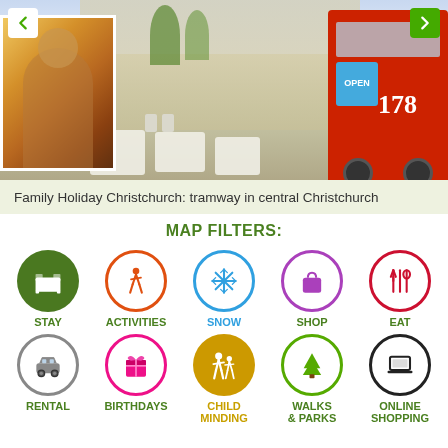[Figure (photo): Banner photo showing tramway numbered 178 in central Christchurch with outdoor cafe tables, overlaid with a smaller photo of a person. Navigation arrows on left (green back) and right (green forward).]
Family Holiday Christchurch: tramway in central Christchurch
MAP FILTERS:
[Figure (infographic): Grid of 10 circular map filter icons: STAY (dark green filled circle with bed icon), ACTIVITIES (orange ring with walking person), SNOW (blue ring with snowflake), SHOP (purple ring with shopping bag), EAT (red ring with fork/spoon), RENTAL (grey ring with car), BIRTHDAYS (pink ring with gift box), CHILD MINDING (gold filled circle with adult and child), WALKS & PARKS (green ring with tree), ONLINE SHOPPING (black ring with laptop)]